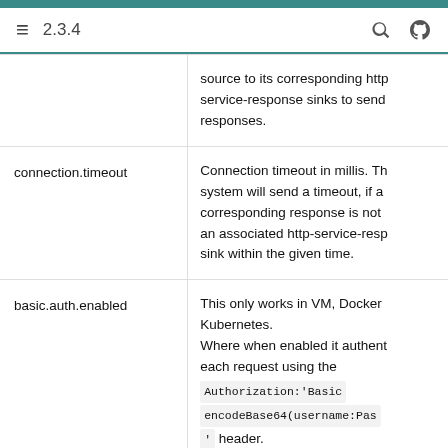2.3.4
| Key | Description |
| --- | --- |
|  | source to its corresponding http-service-response sinks to send responses. |
| connection.timeout | Connection timeout in millis. The system will send a timeout, if a corresponding response is not an associated http-service-response sink within the given time. |
| basic.auth.enabled | This only works in VM, Docker Kubernetes.
Where when enabled it authenticates each request using the Authorization:'Basic encodeBase64(username:Password)' header. |
| worker.count | The number of active worker th… |